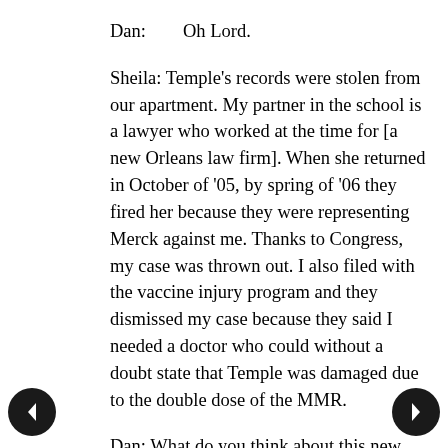Dan:        Oh Lord.
Sheila: Temple's records were stolen from our apartment. My partner in the school is a lawyer who worked at the time for [a new Orleans law firm]. When she returned in October of '05, by spring of '06 they fired her because they were representing Merck against me. Thanks to Congress, my case was thrown out. I also filed with the vaccine injury program and they dismissed my case because they said I needed a doctor who could without a doubt state that Temple was damaged due to the double dose of the MMR.
Dan: What do you think about this new report about the black males and the high risk and all that -- what does that make you think?